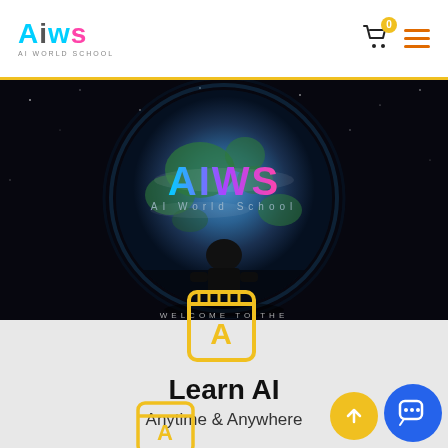AIWS - AI World School
[Figure (screenshot): Hero banner showing a dark space background with Earth globe, a robot silhouette, AIWS logo, and text 'WELCOME TO THE WORLD OF AI & CODING']
[Figure (illustration): Yellow outline book/notebook icon with letter A inside]
Learn AI
Anytime & Anywhere
[Figure (illustration): Yellow circle scroll-to-top arrow button and blue chat button in bottom right corner]